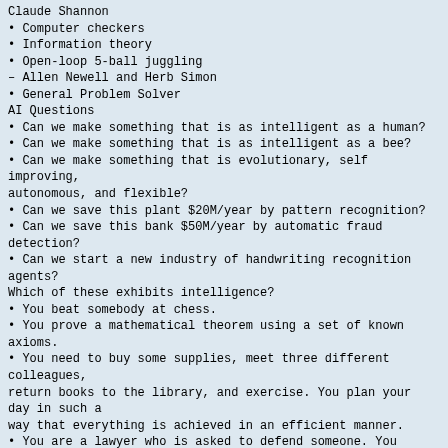Claude Shannon
• Computer checkers
• Information theory
• Open-loop 5-ball juggling
– Allen Newell and Herb Simon
• General Problem Solver
AI Questions
• Can we make something that is as intelligent as a human?
• Can we make something that is as intelligent as a bee?
• Can we make something that is evolutionary, self improving, autonomous, and flexible?
• Can we save this plant $20M/year by pattern recognition?
• Can we save this bank $50M/year by automatic fraud detection?
• Can we start a new industry of handwriting recognition agents?
Which of these exhibits intelligence?
• You beat somebody at chess.
• You prove a mathematical theorem using a set of known axioms.
• You need to buy some supplies, meet three different colleagues, return books to the library, and exercise. You plan your day in such a way that everything is achieved in an efficient manner.
• You are a lawyer who is asked to defend someone. You recall three